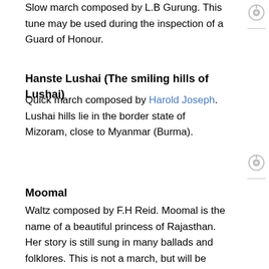Slow march composed by L.B Gurung. This tune may be used during the inspection of a Guard of Honour.
Hanste Lushai (The smiling hills of Lushai)
Quick march composed by Harold Joseph. Lushai hills lie in the border state of Mizoram, close to Myanmar (Burma).
Moomal
Waltz composed by F.H Reid. Moomal is the name of a beautiful princess of Rajasthan. Her story is still sung in many ballads and folklores. This is not a march, but will be played during other military functions where the band will be in attendance.
Rajasthan
Slow march composed by F.H. Reid.
Sher-E-Jawan (Tiger of a Soldier)